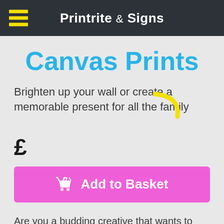Printrite & Signs
Canvas Prints
Brighten up your wall or create a memorable present for all the family
£
Add to Basket
Are you a budding creative that wants to sell their work? Do you want to brighten up a wall in your office, home or